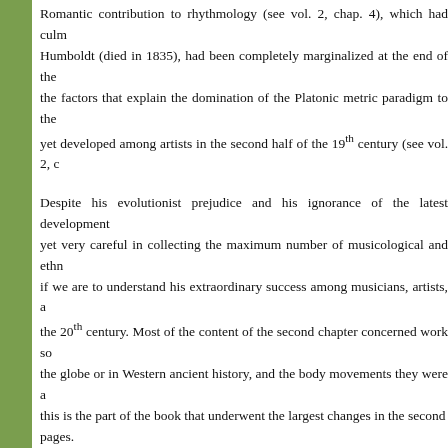Romantic contribution to rhythmology (see vol. 2, chap. 4), which had culm Humboldt (died in 1835), had been completely marginalized at the end of the the factors that explain the domination of the Platonic metric paradigm to the yet developed among artists in the second half of the 19th century (see vol. 2, c
Despite his evolutionist prejudice and his ignorance of the latest development yet very careful in collecting the maximum number of musicological and ethn if we are to understand his extraordinary success among musicians, artists, a the 20th century. Most of the content of the second chapter concerned work so the globe or in Western ancient history, and the body movements they were a this is the part of the book that underwent the largest changes in the second pages.
It is not necessary here to go into detail, though. Most of the time, Bücher con the steadfastness of the rhythms. In the Baedeker's guidebook for Egypt, he fo
These songs [at work or in daily life] are definitely lacking melody: they all are sun rhythm, [...] in such a way that after six to eight notes the singer arbitrarily changes it The character of the resulting melody is very monotone and without euphony for a 1885, quoted in Labor and Rhythm, 1899, p. 46, my trans.)